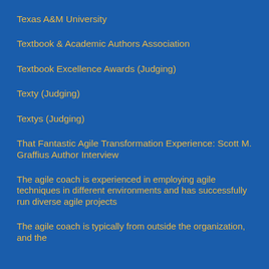Texas A&M University
Textbook & Academic Authors Association
Textbook Excellence Awards (Judging)
Texty (Judging)
Textys (Judging)
That Fantastic Agile Transformation Experience: Scott M. Graffius Author Interview
The agile coach is experienced in employing agile techniques in different environments and has successfully run diverse agile projects
The agile coach is typically from outside the organization, and the